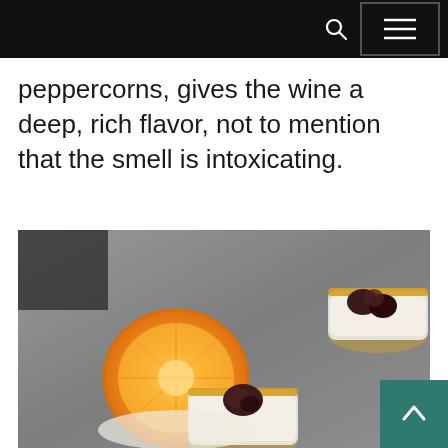[Navigation bar with search icon and menu button]
peppercorns, gives the wine a deep, rich flavor, not to mention that the smell is intoxicating.
[Figure (photo): Food photograph showing cocktail glasses with golden sugar rims containing a cream-colored drink topped with dark figs, alongside a halved orange, on a gray stone surface.]